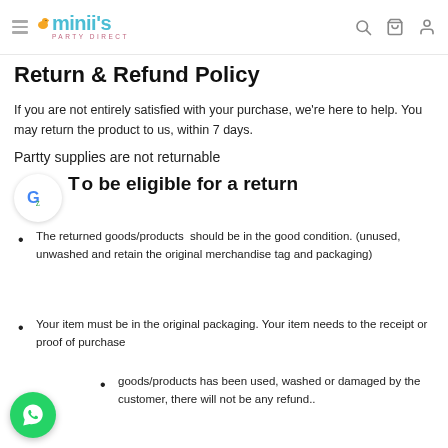minii's PARTY DIRECT — navigation header with logo, search, cart, account icons
Return & Refund Policy
If you are not entirely satisfied with your purchase, we're here to help. You may return the product to us, within 7 days.
Partty supplies are not returnable
To be eligible for a return
The returned goods/products  should be in the good condition. (unused, unwashed and retain the original merchandise tag and packaging)
Your item must be in the original packaging. Your item needs to the receipt or proof of purchase
goods/products has been used, washed or damaged by the customer, there will not be any refund..